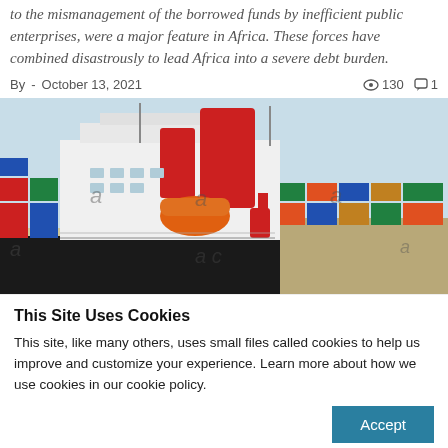to the mismanagement of the borrowed funds by inefficient public enterprises, were a major feature in Africa. These forces have combined disastrously to lead Africa into a severe debt burden.
By  - October 13, 2021  👁 130  💬 1
[Figure (photo): A large cargo/container ship with red funnels and black hull docked at a port, surrounded by colorful shipping containers. Stock photo with watermark overlays.]
This Site Uses Cookies
This site, like many others, uses small files called cookies to help us improve and customize your experience. Learn more about how we use cookies in our cookie policy.